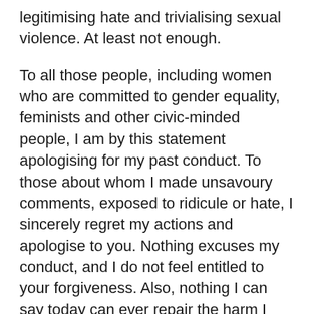legitimising hate and trivialising sexual violence. At least not enough.
To all those people, including women who are committed to gender equality, feminists and other civic-minded people, I am by this statement apologising for my past conduct. To those about whom I made unsavoury comments, exposed to ridicule or hate, I sincerely regret my actions and apologise to you. Nothing excuses my conduct, and I do not feel entitled to your forgiveness. Also, nothing I can say today can ever repair the harm I have caused you.
Rape jokes are everything but funny!